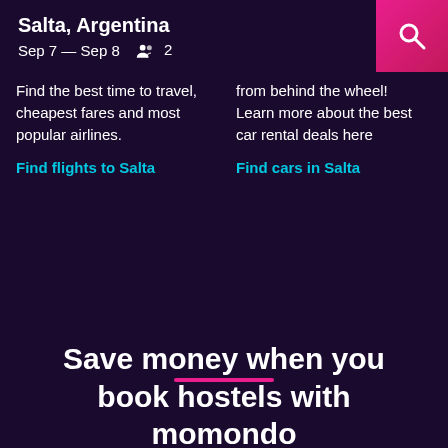Salta, Argentina
Sep 7 — Sep 8   2
Find the best time to travel, cheapest fares and most popular airlines.
Find flights to Salta
from behind the wheel! Learn more about the best car rental deals here
Find cars in Salta
Get a the to most neigh Salta
Find h
Save money when you book hostels with momondo
Comprehensive travel search